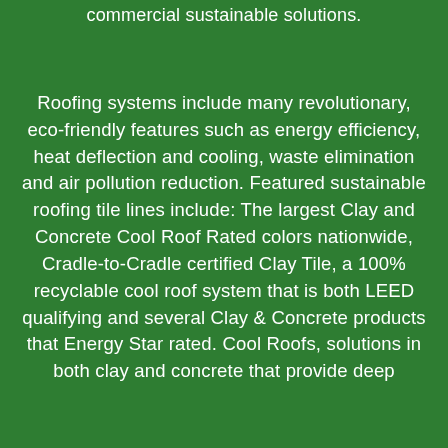commercial sustainable solutions.
Roofing systems include many revolutionary, eco-friendly features such as energy efficiency, heat deflection and cooling, waste elimination and air pollution reduction. Featured sustainable roofing tile lines include: The largest Clay and Concrete Cool Roof Rated colors nationwide, Cradle-to-Cradle certified Clay Tile, a 100% recyclable cool roof system that is both LEED qualifying and several Clay & Concrete products that Energy Star rated. Cool Roofs, solutions in both clay and concrete that provide deep